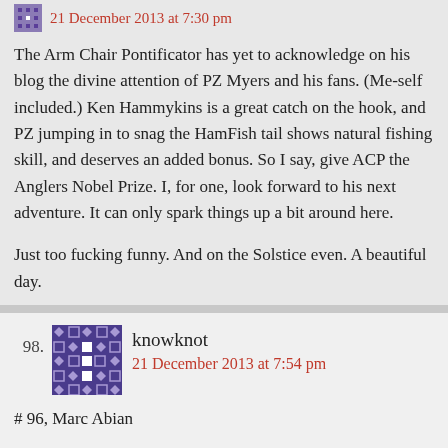21 December 2013 at 7:30 pm
The Arm Chair Pontificator has yet to acknowledge on his blog the divine attention of PZ Myers and his fans. (Me-self included.) Ken Hammykins is a great catch on the hook, and PZ jumping in to snag the HamFish tail shows natural fishing skill, and deserves an added bonus. So I say, give ACP the Anglers Nobel Prize. I, for one, look forward to his next adventure. It can only spark things up a bit around here.
Just too fucking funny. And on the Solstice even. A beautiful day.
98.
[Figure (illustration): Avatar icon for user knowknot — decorative geometric pattern in dark purple/indigo with diamond and square motifs]
knowknot
21 December 2013 at 7:54 pm
# 96, Marc Abian